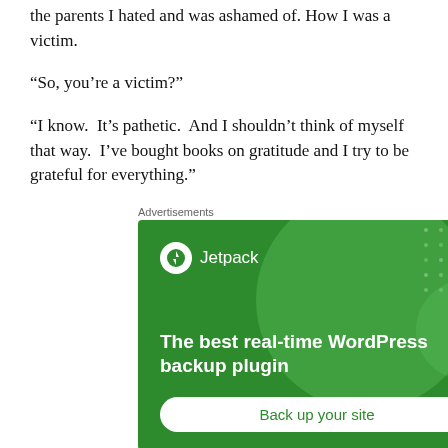the parents I hated and was ashamed of. How I was a victim.
“So, you’re a victim?”
“I know.  It’s pathetic.  And I shouldn’t think of myself that way.  I’ve bought books on gratitude and I try to be grateful for everything.”
Advertisements
[Figure (other): Jetpack WordPress plugin advertisement. Green background with decorative circles. Shows Jetpack logo and text: 'The best real-time WordPress backup plugin' with a 'Back up your site' button.]